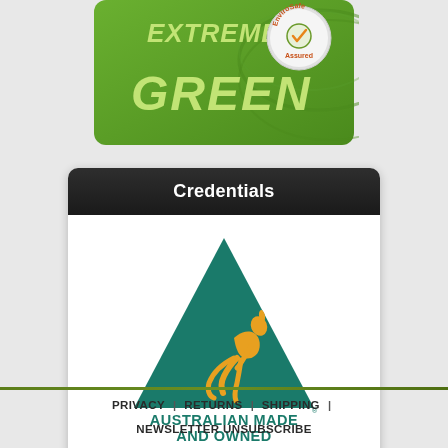[Figure (illustration): Partial product image showing 'EXTREME GREEN' branding with EnviroSafe Assured badge on green background]
Credentials
[Figure (logo): Australian Made and Owned logo: teal triangle with golden kangaroo silhouette, text reads 'AUSTRALIAN MADE AND OWNED']
PRIVACY | RETURNS | SHIPPING | NEWSLETTER UNSUBSCRIBE